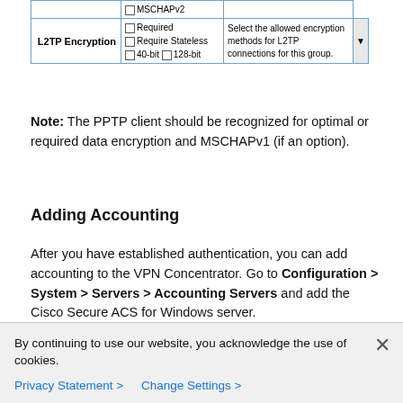|  | Options | Description |
| --- | --- | --- |
|  | ☐ MSCHAPv2 |  |
| L2TP Encryption | ☐ Required
☐ Require Stateless
☐ 40-bit ☐ 128-bit | Select the allowed encryption methods for L2TP connections for this group. |
Note: The PPTP client should be recognized for optimal or required data encryption and MSCHAPv1 (if an option).
Adding Accounting
After you have established authentication, you can add accounting to the VPN Concentrator. Go to Configuration > System > Servers > Accounting Servers and add the Cisco Secure ACS for Windows server.
In Cisco Secure ACS for Windows, the accounting records appear as follows.
Date,Time,User-Name,Group-Name,Calling-Stati
    Acct-Session-Time,Service-Type,Framed-Pro
By continuing to use our website, you acknowledge the use of cookies.